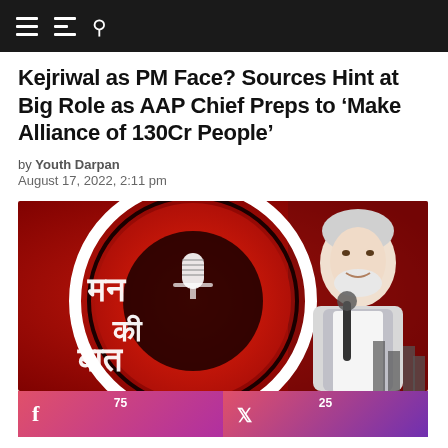Navigation bar with menu and search icons
Kejriwal as PM Face? Sources Hint at Big Role as AAP Chief Preps to ‘Make Alliance of 130Cr People’
by Youth Darpan
August 17, 2022, 2:11 pm
[Figure (photo): Mann Ki Baat logo with Hindi text on red circular background and a person (Narendra Modi) speaking at a microphone on the right side]
75  f  (Facebook share button)
25  (Twitter share button)